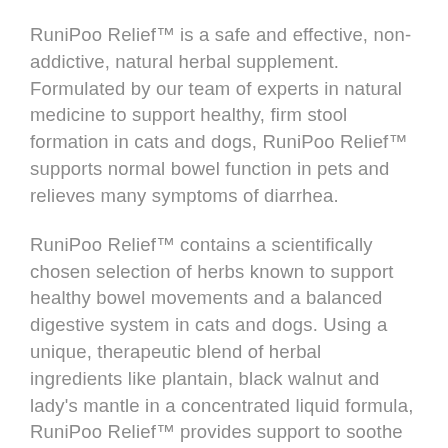RuniPoo Relief™ is a safe and effective, non-addictive, natural herbal supplement. Formulated by our team of experts in natural medicine to support healthy, firm stool formation in cats and dogs, RuniPoo Relief™ supports normal bowel function in pets and relieves many symptoms of diarrhea.
RuniPoo Relief™ contains a scientifically chosen selection of herbs known to support healthy bowel movements and a balanced digestive system in cats and dogs. Using a unique, therapeutic blend of herbal ingredients like plantain, black walnut and lady's mantle in a concentrated liquid formula, RuniPoo Relief™ provides support to soothe feline and canine stomachs.
RuniPoo Relief™ is vegetarian-friendly, Kosher-certified, and contains no artificial colors, preservatives or added gluten. Available in liquid tincture form, serving sizes can be adjusted to suit pets of all shapes, sizes, ages and diets.